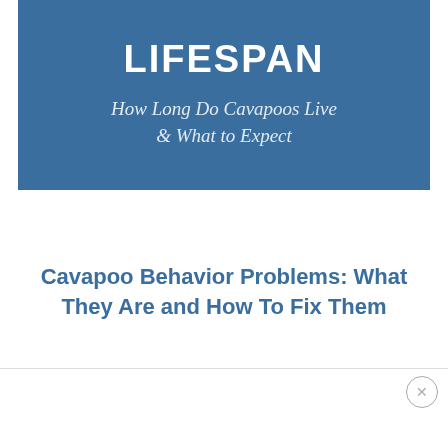[Figure (illustration): Blue rectangular banner with white bold text 'LIFESPAN' at top, and italic white subtitle text 'How Long Do Cavapoos Live & What to Expect' below on a steel blue background.]
Cavapoo Behavior Problems: What They Are and How To Fix Them